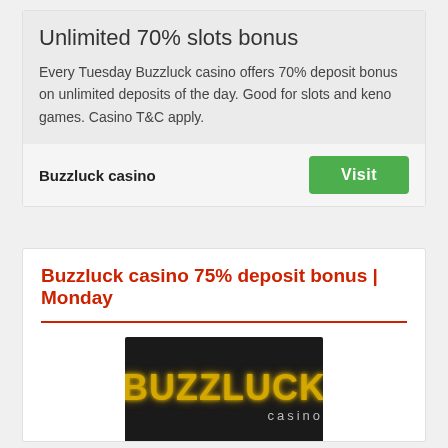Unlimited 70% slots bonus
Every Tuesday Buzzluck casino offers 70% deposit bonus on unlimited deposits of the day. Good for slots and keno games. Casino T&C apply.
Buzzluck casino
Buzzluck casino 75% deposit bonus  |  Monday
[Figure (logo): Buzzluck casino logo — yellow glowing text on dark background reading BUZZLUCK with 'casino' below]